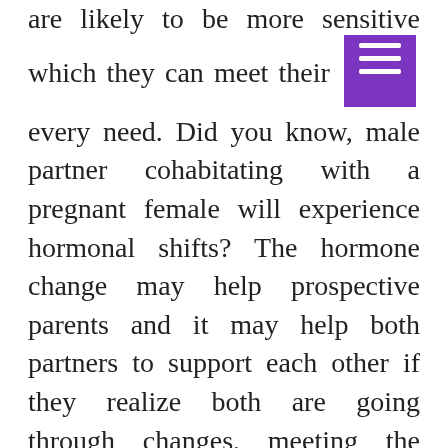are likely to be more sensitive which they can meet their [menu icon] every need. Did you know, male partner cohabitating with a pregnant female will experience hormonal shifts? The hormone change may help prospective parents and it may help both partners to support each other if they realize both are going through changes, meeting the challenges of parenthood. The synchronization of their emotions makes fathers nurture and show affectionate care to their child as well as to detect the right that is important for him to see if